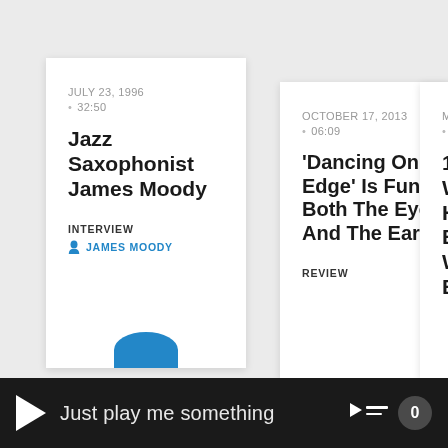[Figure (screenshot): Card-based media listing UI showing radio/podcast cards. Card 1: Jazz Saxophonist James Moody, dated July 23, 1996, duration 32:50, category INTERVIEW, author JAMES MOODY. Card 2: 'Dancing On The Edge' Is Fun For Both The Eyes And The Ears, dated October 17, 2013, duration 06:09, category REVIEW. Card 3: partially visible, dated MA..., with truncated title starting '10 W H Ea... W BL...'. Player bar at bottom with play button, 'Just play me something' text, queue icon, and badge showing 0.]
JULY 23, 1996 • 32:50
Jazz Saxophonist James Moody
INTERVIEW
JAMES MOODY
OCTOBER 17, 2013 • 06:09
'Dancing On The Edge' Is Fun For Both The Eyes And The Ears
REVIEW
Just play me something
0